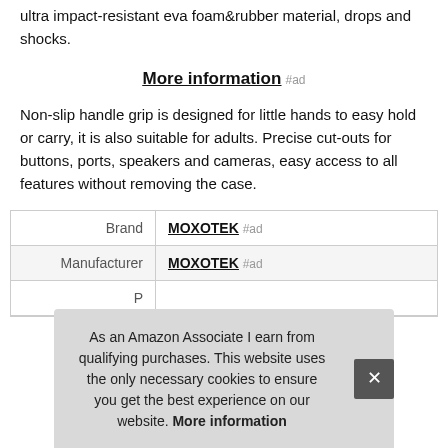ultra impact-resistant eva foam&rubber material, drops and shocks.
More information #ad
Non-slip handle grip is designed for little hands to easy hold or carry, it is also suitable for adults. Precise cut-outs for buttons, ports, speakers and cameras, easy access to all features without removing the case.
|  |  |
| --- | --- |
| Brand | MOXOTEK #ad |
| Manufacturer | MOXOTEK #ad |
| P |  |
As an Amazon Associate I earn from qualifying purchases. This website uses the only necessary cookies to ensure you get the best experience on our website. More information